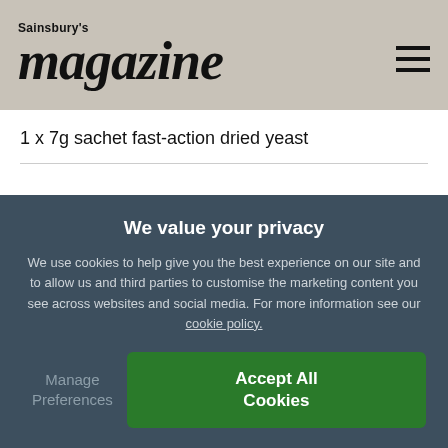Sainsbury's magazine
1 x 7g sachet fast-action dried yeast
We value your privacy
We use cookies to help give you the best experience on our site and to allow us and third parties to customise the marketing content you see across websites and social media. For more information see our cookie policy.
Manage Preferences
Accept All Cookies